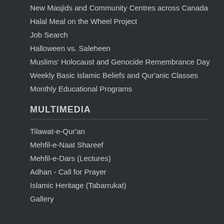New Masjids and Community Centres across Canada
Halal Meal on the Wheel Project
Job Search
Halloween vs. Saleheen
Muslims' Holocaust and Genocide Remembrance Day
Weekly Basic Islamic Beliefs and Qur'anic Classes
Monthly Educational Programs
MULTIMEDIA
Tilawat-e-Qur'an
Mehfil-e-Naat Shareef
Mehfil-e-Dars (Lectures)
Adhan - Call for Prayer
Islamic Heritage (Tabarrukat)
Gallery